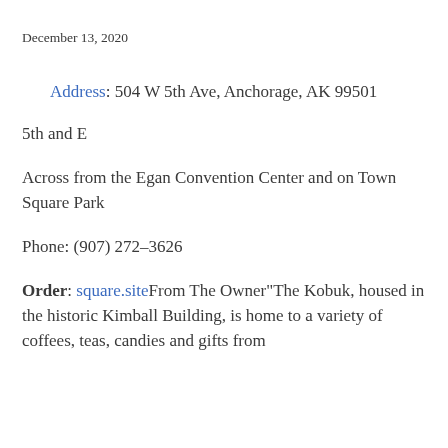December 13, 2020
Address: 504 W 5th Ave, Anchorage, AK 99501
5th and E
Across from the Egan Convention Center and on Town Square Park
Phone: (907) 272-3626
Order: square.siteFrom The Owner"The Kobuk, housed in the historic Kimball Building, is home to a variety of coffees, teas, candies and gifts from